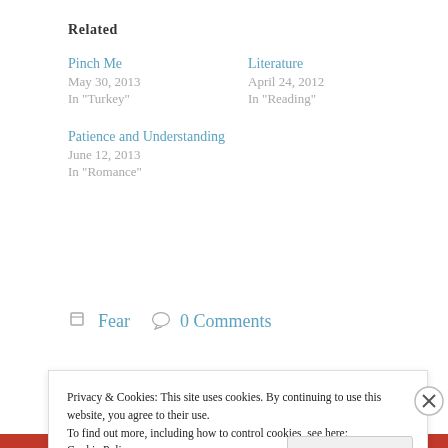Related
Pinch Me
May 30, 2013
In "Turkey"
Literature
April 24, 2012
In "Reading"
Patience and Understanding
June 12, 2013
In "Romance"
Fear   0 Comments
Privacy & Cookies: This site uses cookies. By continuing to use this website, you agree to their use.
To find out more, including how to control cookies, see here: Cookie Policy
Close and accept